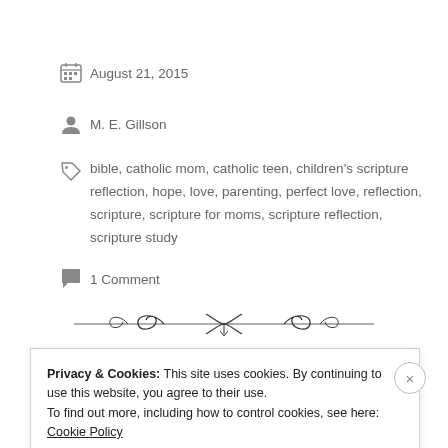August 21, 2015
M. E. Gillson
bible, catholic mom, catholic teen, children's scripture reflection, hope, love, parenting, perfect love, reflection, scripture, scripture for moms, scripture reflection, scripture study
1 Comment
[Figure (illustration): Decorative ornamental divider line with scrollwork]
Privacy & Cookies: This site uses cookies. By continuing to use this website, you agree to their use. To find out more, including how to control cookies, see here: Cookie Policy
Close and accept